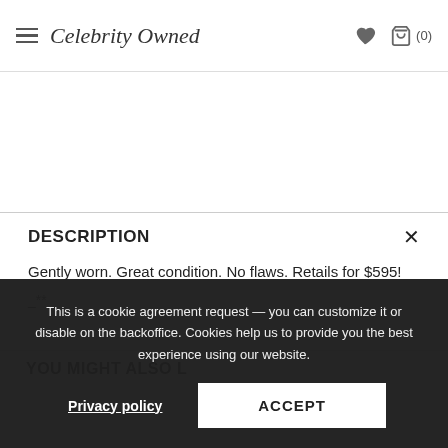Celebrity Owned  ♥  🛍 (0)
DESCRIPTION
Gently worn. Great condition. No flaws. Retails for $595!
_**_
YOU MIGHT ALSO L...
This is a cookie agreement request — you can customize it or disable on the backoffice. Cookies help us to provide you the best experience using our website.
Privacy policy   ACCEPT